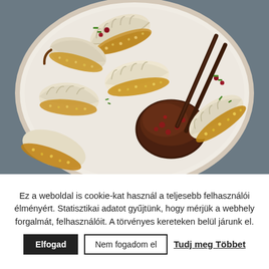[Figure (photo): Close-up photo of pan-fried dumplings (gyoza/potstickers) with sesame seed crusted bottoms, garnished with chopped green onions and pomegranate seeds, arranged on a white plate with a small bowl of dark dipping sauce, and chopsticks resting on the plate.]
Ez a weboldal is cookie-kat használ a teljesebb felhasználói élményért. Statisztikai adatot gyűjtünk, hogy mérjük a webhely forgalmát, felhasználóit. A törvényes kereteken belül járunk el.
Elfogad
Nem fogadom el
Tudj meg Többet